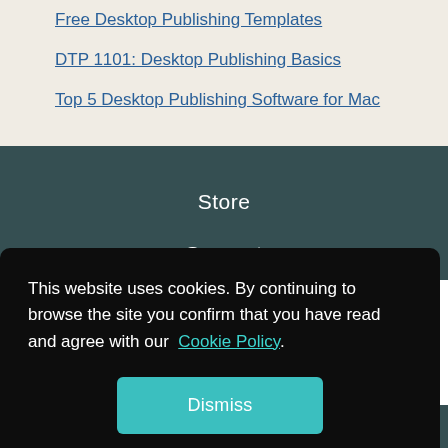Free Desktop Publishing Templates
DTP 1101: Desktop Publishing Basics
Top 5 Desktop Publishing Software for Mac
Store
Support
This website uses cookies. By continuing to browse the site you confirm that you have read and agree with our Cookie Policy.
Dismiss
Twitter